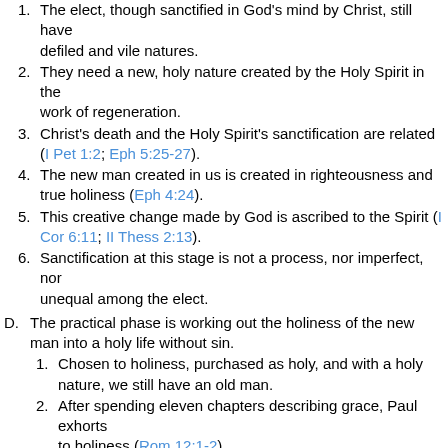1. The elect, though sanctified in God's mind by Christ, still have defiled and vile natures.
2. They need a new, holy nature created by the Holy Spirit in the work of regeneration.
3. Christ's death and the Holy Spirit's sanctification are related (I Pet 1:2; Eph 5:25-27).
4. The new man created in us is created in righteousness and true holiness (Eph 4:24).
5. This creative change made by God is ascribed to the Spirit (I Cor 6:11; II Thess 2:13).
6. Sanctification at this stage is not a process, nor imperfect, nor unequal among the elect.
D. The practical phase is working out the holiness of the new man into a holy life without sin.
1. Chosen to holiness, purchased as holy, and with a holy nature, we still have an old man.
2. After spending eleven chapters describing grace, Paul exhorts to holiness (Rom 12:1-2).
3. We sanctify ourselves to the Lord by choosing to be holy for the Lord (Leviticus 20:7).
4. Paul exhorted the Thessalonians to do God's will and sanctify themselves (I Thess 4:1-7).